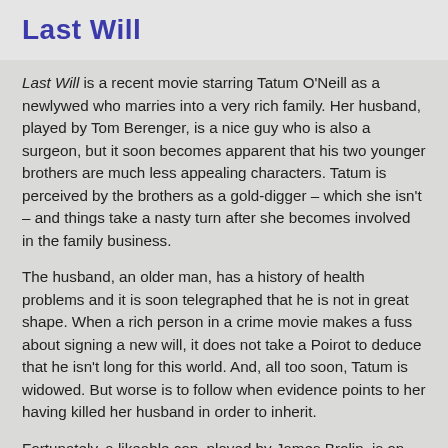Last Will
Last Will is a recent movie starring Tatum O'Neill as a newlywed who marries into a very rich family. Her husband, played by Tom Berenger, is a nice guy who is also a surgeon, but it soon becomes apparent that his two younger brothers are much less appealing characters. Tatum is perceived by the brothers as a gold-digger – which she isn't – and things take a nasty turn after she becomes involved in the family business.
The husband, an older man, has a history of health problems and it is soon telegraphed that he is not in great shape. When a rich person in a crime movie makes a fuss about signing a new will, it does not take a Poirot to deduce that he isn't long for this world. And, all too soon, Tatum is widowed. But worse is to follow when evidence points to her having killed her husband in order to inherit.
Fortunately, a likeable cop, played by James Brolin, is on